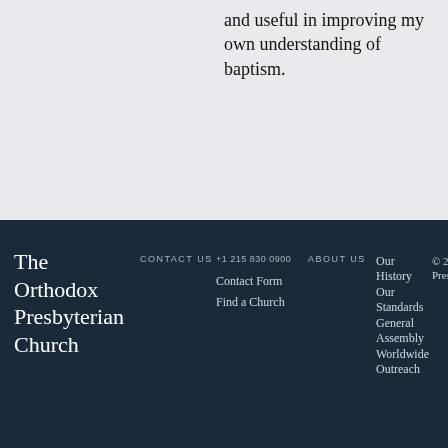and useful in improving my own understanding of baptism.
The Orthodox Presbyterian Church
CONTACT US  +1 215 830 0900  ABOUT US  Contact Form  Find a Church  Our History  Our Standards  General Assembly  Worldwide Outreach  © 2022 Orthodox Presbyterian Church